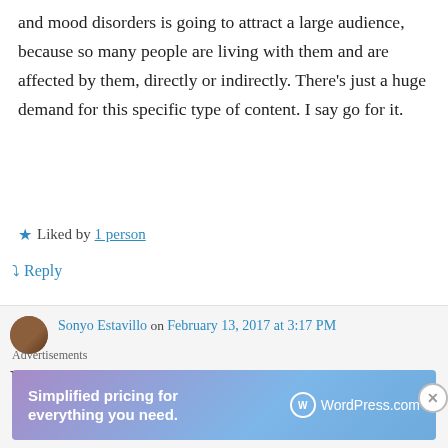and mood disorders is going to attract a large audience, because so many people are living with them and are affected by them, directly or indirectly. There's just a huge demand for this specific type of content. I say go for it.
Liked by 1 person
Reply
Sonyo Estavillo on February 13, 2017 at 3:17 PM
Yeah, I am actually making it into a novel.
Advertisements
[Figure (screenshot): WordPress.com ad banner: 'Simplified pricing for everything you need.' with WordPress.com logo on gradient purple-blue background]